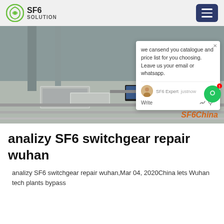SF6 SOLUTION
[Figure (photo): Workers in blue hard hats and work uniforms operating SF6 equipment/switchgear outdoors on a concrete surface. A chat popup overlay reads: 'we cansend you catalogue and price list for you choosing. Leave us your email or whatsapp.' with SF6 Expert avatar and 'justnow' timestamp. A green messaging button appears on the right. An orange watermark reads 'SF6China' at the bottom right.]
analizy SF6 switchgear repair wuhan
analizy SF6 switchgear repair wuhan,Mar 04, 2020China lets Wuhan tech plants bypass